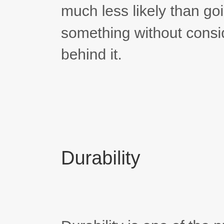much less likely than going to a store and grabbing something without considering the brand and everything behind it.
Durability
Durability is one of the primary features which are important for most products. They don't often have long lifespans and require replacement every now then.
Before you buy any product from the store, make sure you know about the material well. Sometimes, many people buy the wrong product even